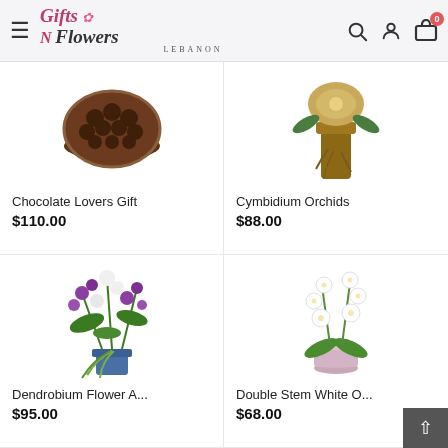Gifts N Flowers Lebanon — navigation header with search, user, and cart icons
[Figure (photo): Chocolate Lovers Gift product photo showing chocolate arrangement in round container]
Chocolate Lovers Gift
$110.00
[Figure (photo): Cymbidium Orchids product photo showing orchid plant with brown roots/bark]
Cymbidium Orchids
$88.00
[Figure (photo): Dendrobium Flower Arrangement photo showing purple and white flowers in blue vase with trailing greens]
Dendrobium Flower A...
$95.00
[Figure (photo): Double Stem White Orchid photo showing white phalaenopsis orchid in pink pot]
Double Stem White O...
$68.00